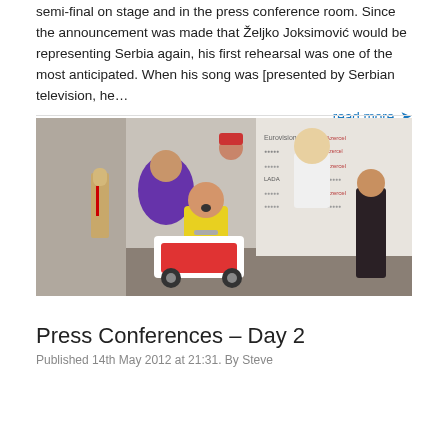semi-final on stage and in the press conference room. Since the announcement was made that Željko Joksimović would be representing Serbia again, his first rehearsal was one of the most anticipated. When his song was [presented by Serbian television, he…  read more →
[Figure (photo): Group of people posing at an Eurovision press conference backdrop. A person in a yellow shirt sits on a small red and white ride-on vehicle/tractor while others pose around them. Eurovision and Azercel sponsor logos visible on the backdrop.]
Press Conferences – Day 2
Published 14th May 2012 at 21:31. By Steve